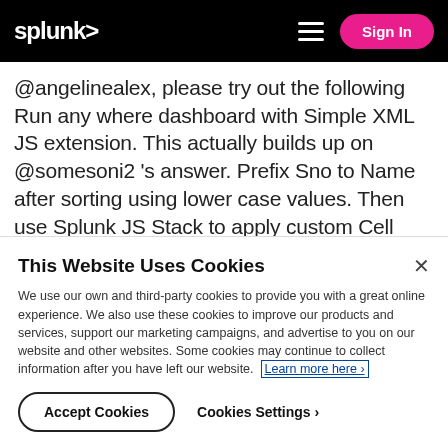splunk> | Sign In
@angelinealex, please try out the following Run any where dashboard with Simple XML JS extension. This actually builds up on @somesoni2 's answer. Prefix Sno to Name after sorting using lower case values. Then use Splunk JS Stack to apply custom Cell Render. In the JavaScript code, I am stripping off Serial Number before displaying in the table using regular expression.
This Website Uses Cookies
We use our own and third-party cookies to provide you with a great online experience. We also use these cookies to improve our products and services, support our marketing campaigns, and advertise to you on our website and other websites. Some cookies may continue to collect information after you have left our website. Learn more here ›
Accept Cookies
Cookies Settings ›